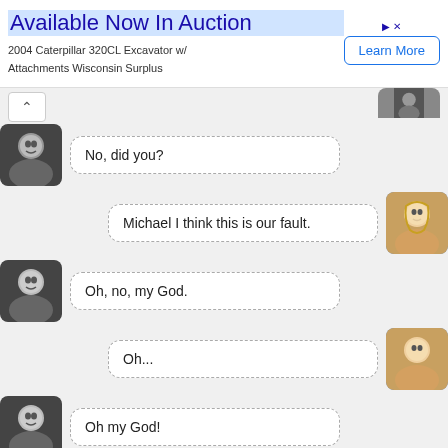[Figure (screenshot): Advertisement banner: 'Available Now In Auction' for 2004 Caterpillar 320CL Excavator w/ Attachments Wisconsin Surplus, with a 'Learn More' button]
No, did you?
Michael I think this is our fault.
Oh, no, my God.
Oh...
Oh my God!
So much for sex without